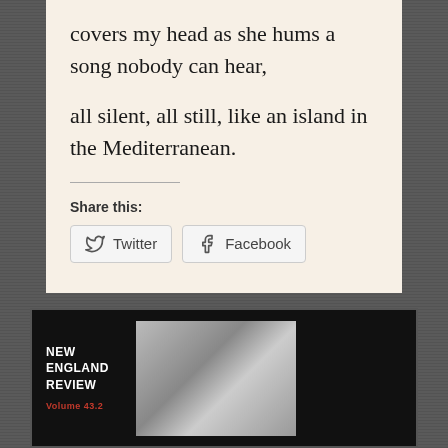covers my head as she hums a song nobody can hear,
all silent, all still, like an island in the Mediterranean.
Share this:
[Figure (screenshot): Share buttons for Twitter and Facebook]
[Figure (photo): New England Review magazine cover, Volume 43.2, showing a black and white architectural photograph, displayed against a dark background]